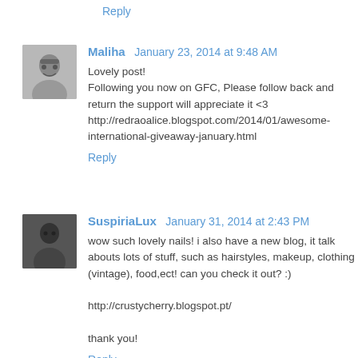Reply
Maliha  January 23, 2014 at 9:48 AM
Lovely post!
Following you now on GFC, Please follow back and return the support will appreciate it <3
http://redraoalice.blogspot.com/2014/01/awesome-international-giveaway-january.html
Reply
SuspiriaLux  January 31, 2014 at 2:43 PM
wow such lovely nails! i also have a new blog, it talk abouts lots of stuff, such as hairstyles, makeup, clothing (vintage), food,ect! can you check it out? :)

http://crustycherry.blogspot.pt/

thank you!
Reply